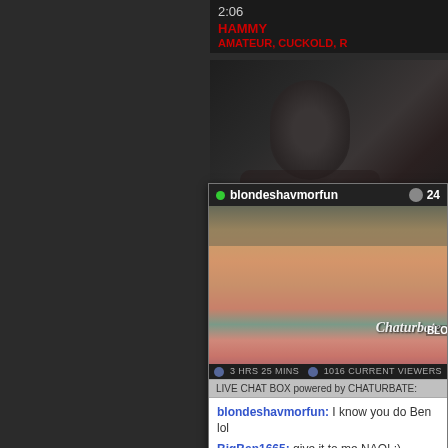2:06
HAMMY
AMATEUR, CUCKOLD, R
[Figure (screenshot): Dark background thumbnail image of a person]
[Figure (screenshot): Chaturbate live stream popup showing blondeshavmorfun with 24 viewers, stream running 3 HRS 25 MINS, 1016 CURRENT VIEWERS]
blondeshavmorfun
24
3 HRS 25 MINS
1016 CURRENT VIEWERS
LIVE CHAT BOX powered by CHATURBATE:
blondeshavmorfun: I know you do Ben lol
BigBen1665: give it to me NAO! ;)
blondeshavmorfun: any other guys wanna see my fresh brazilian wax??? :O
SEND